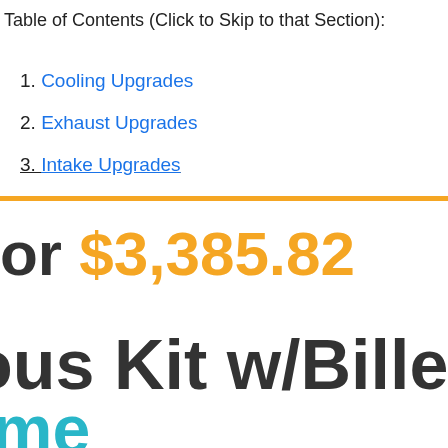Table of Contents (Click to Skip to that Section):
1. Cooling Upgrades
2. Exhaust Upgrades
3. Intake Upgrades
or $3,385.82
ous Kit w/Billet LT
me